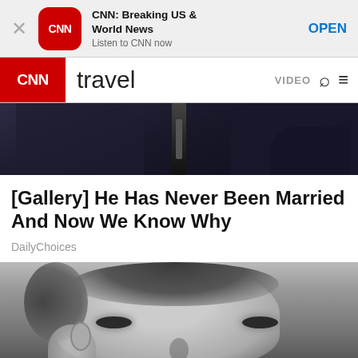[Figure (screenshot): CNN app download banner with CNN logo icon, app name 'CNN: Breaking US & World News', subtitle 'Listen to CNN now', and OPEN button]
CNN travel   VIDEO  🔍  ≡
[Figure (photo): Close-up photo of a person wearing a dark navy jacket, torso only visible]
[Gallery] He Has Never Been Married And Now We Know Why
DailyChoices
[Figure (photo): Black and white close-up portrait photo of a young man's face looking at camera]